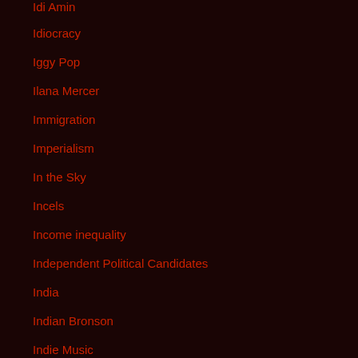Idi Amin
Idiocracy
Iggy Pop
Ilana Mercer
Immigration
Imperialism
In the Sky
Incels
Income inequality
Independent Political Candidates
India
Indian Bronson
Indie Music
Industrial Music
Indy Music